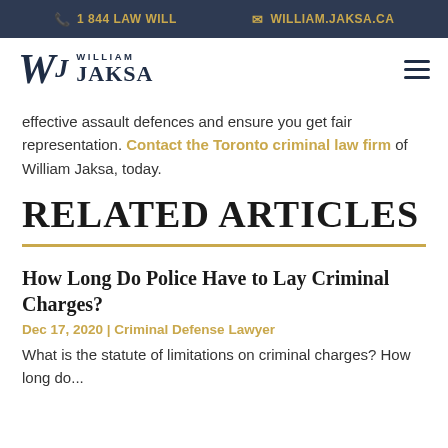1 844 LAW WILL   WILLIAM.JAKSA.CA
[Figure (logo): William Jaksa law firm logo with stylized W and name]
effective assault defences and ensure you get fair representation. Contact the Toronto criminal law firm of William Jaksa, today.
RELATED ARTICLES
How Long Do Police Have to Lay Criminal Charges?
Dec 17, 2020 | Criminal Defense Lawyer
What is the statute of limitations on criminal charges? How long do...